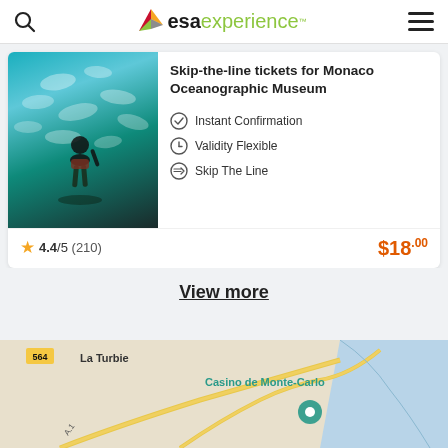esa experience
Skip-the-line tickets for Monaco Oceanographic Museum
Instant Confirmation
Validity Flexible
Skip The Line
4.4/5 (210)   $18.00
View more
[Figure (map): Map showing Monaco area with La Turbie, Casino de Monte-Carlo labeled, road A1, route 564, with sea visible on the right.]